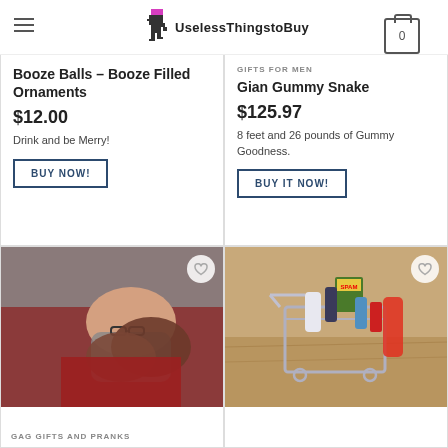UselessThingstoBuy
Booze Balls – Booze Filled Ornaments
$12.00
Drink and be Merry!
BUY NOW!
GIFTS FOR MEN
Gian Gummy Snake
$125.97
8 feet and 26 pounds of Gummy Goodness.
BUY IT NOW!
[Figure (photo): Person lying down with glasses, wearing grey and red clothing]
GAG GIFTS AND PRANKS
[Figure (photo): Mini shopping cart filled with various products including SPAM, toiletries, and other items on a wooden surface]